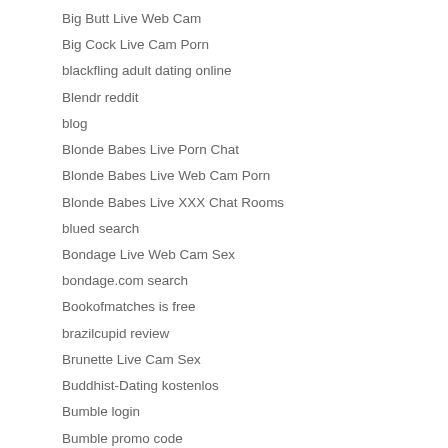Big Butt Live Web Cam
Big Cock Live Cam Porn
blackfling adult dating online
Blendr reddit
blog
Blonde Babes Live Porn Chat
Blonde Babes Live Web Cam Porn
Blonde Babes Live XXX Chat Rooms
blued search
Bondage Live Web Cam Sex
bondage.com search
Bookofmatches is free
brazilcupid review
Brunette Live Cam Sex
Buddhist-Dating kostenlos
Bumble login
Bumble promo code